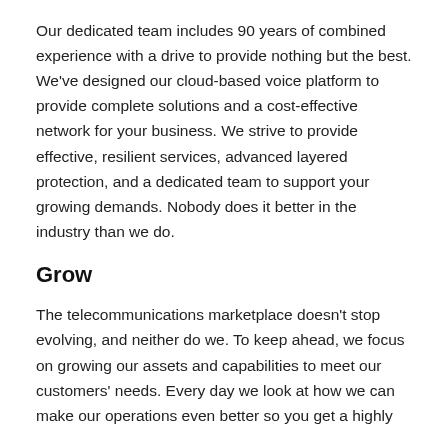Our dedicated team includes 90 years of combined experience with a drive to provide nothing but the best. We've designed our cloud-based voice platform to provide complete solutions and a cost-effective network for your business. We strive to provide effective, resilient services, advanced layered protection, and a dedicated team to support your growing demands. Nobody does it better in the industry than we do.
Grow
The telecommunications marketplace doesn't stop evolving, and neither do we. To keep ahead, we focus on growing our assets and capabilities to meet our customers' needs. Every day we look at how we can make our operations even better so you get a highly